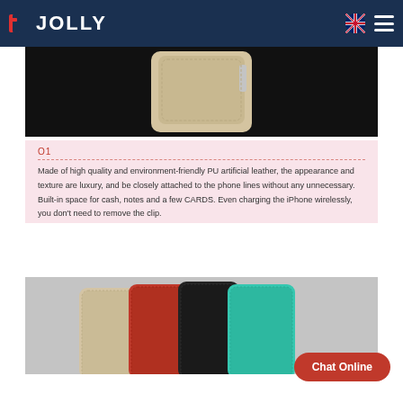JOLLY
[Figure (photo): Product photo of a beige/tan PU leather phone case on dark background]
01
Made of high quality and environment-friendly PU artificial leather, the appearance and texture are luxury, and be closely attached to the phone lines without any unnecessary. Built-in space for cash, notes and a few CARDS. Even charging the iPhone wirelessly, you don't need to remove the clip.
[Figure (photo): Product photo showing multiple phone cases in different colors: beige, red, black, teal/mint on light background]
Chat Online